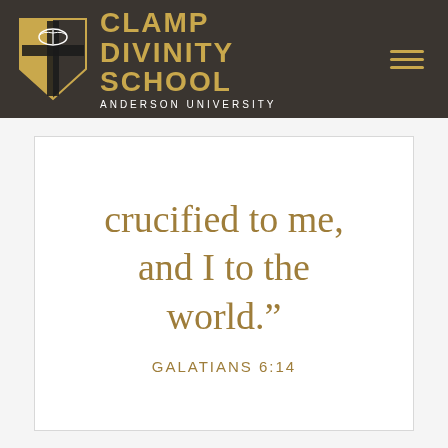CLAMP DIVINITY SCHOOL ANDERSON UNIVERSITY
crucified to me, and I to the world."
GALATIANS 6:14